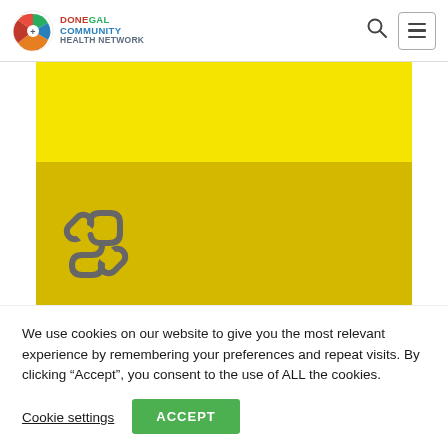Donegal Community Health Network
[Figure (illustration): Yellow and golden-yellow rectangular block with a chain/link icon in the lower-left area on the darker golden section]
We use cookies on our website to give you the most relevant experience by remembering your preferences and repeat visits. By clicking “Accept”, you consent to the use of ALL the cookies.
Cookie settings | ACCEPT